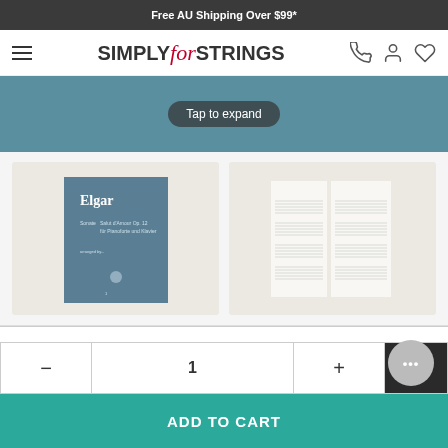Free AU Shipping Over $99*
[Figure (screenshot): Simply for Strings logo with hamburger menu and nav icons (phone, person, heart)]
[Figure (screenshot): Tap to expand button overlay on teal/blue background image of sheet music]
[Figure (photo): Two product thumbnails: left shows Elgar sheet music book cover (blue), right shows interior sheet music pages]
1
ADD TO CART